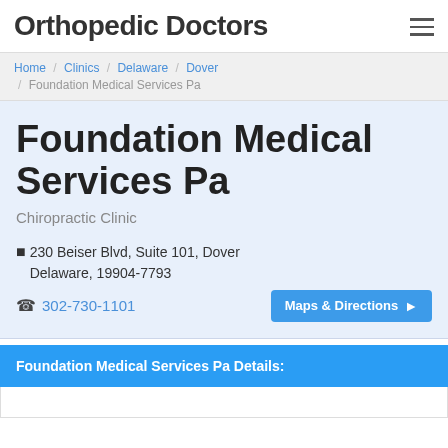Orthopedic Doctors
Home / Clinics / Delaware / Dover / Foundation Medical Services Pa
Foundation Medical Services Pa
Chiropractic Clinic
230 Beiser Blvd, Suite 101, Dover Delaware, 19904-7793
302-730-1101
Foundation Medical Services Pa Details: